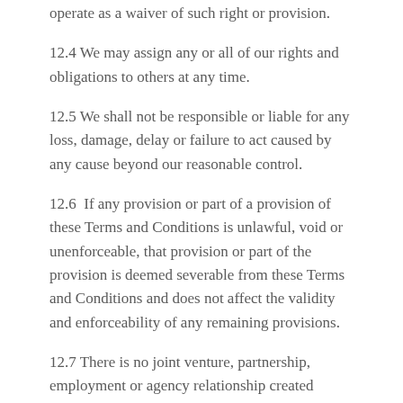operate as a waiver of such right or provision.
12.4 We may assign any or all of our rights and obligations to others at any time.
12.5 We shall not be responsible or liable for any loss, damage, delay or failure to act caused by any cause beyond our reasonable control.
12.6  If any provision or part of a provision of these Terms and Conditions is unlawful, void or unenforceable, that provision or part of the provision is deemed severable from these Terms and Conditions and does not affect the validity and enforceability of any remaining provisions.
12.7 There is no joint venture, partnership, employment or agency relationship created between you and us as a result of these Terms and